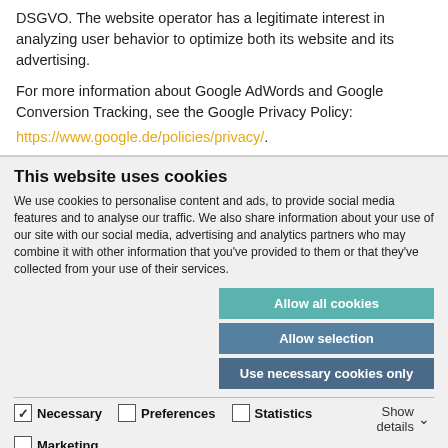DSGVO. The website operator has a legitimate interest in analyzing user behavior to optimize both its website and its advertising.
For more information about Google AdWords and Google Conversion Tracking, see the Google Privacy Policy: https://www.google.de/policies/privacy/.
This website uses cookies
We use cookies to personalise content and ads, to provide social media features and to analyse our traffic. We also share information about your use of our site with our social media, advertising and analytics partners who may combine it with other information that you've provided to them or that they've collected from your use of their services.
Allow all cookies
Allow selection
Use necessary cookies only
Necessary  Preferences  Statistics  Marketing  Show details